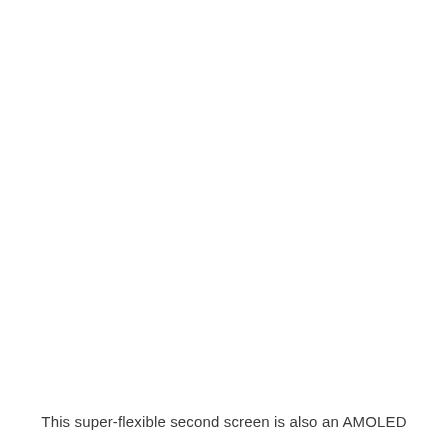This super-flexible second screen is also an AMOLED